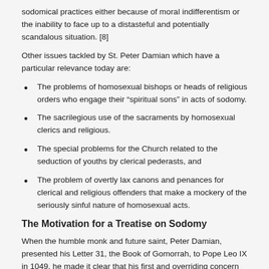sodomical practices either because of moral indifferentism or the inability to face up to a distasteful and potentially scandalous situation. [8]
Other issues tackled by St. Peter Damian which have a particular relevance today are:
The problems of homosexual bishops or heads of religious orders who engage their “spiritual sons” in acts of sodomy.
The sacrilegious use of the sacraments by homosexual clerics and religious.
The special problems for the Church related to the seduction of youths by clerical pederasts, and
The problem of overtly lax canons and penances for clerical and religious offenders that make a mockery of the seriously sinful nature of homosexual acts.
The Motivation for a Treatise on Sodomy
When the humble monk and future saint, Peter Damian, presented his Letter 31, the Book of Gomorrah, to Pope Leo IX in 1049, he made it clear that his first and overriding concern was for the salvation of souls. While the work is addressed